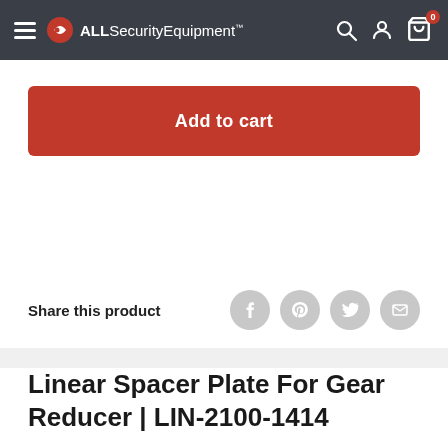ALLSecurityEquipment
Add to cart
Share this product
Linear Spacer Plate For Gear Reducer | LIN-2100-1414
Linear Spacer Plate For Gear Reducer.